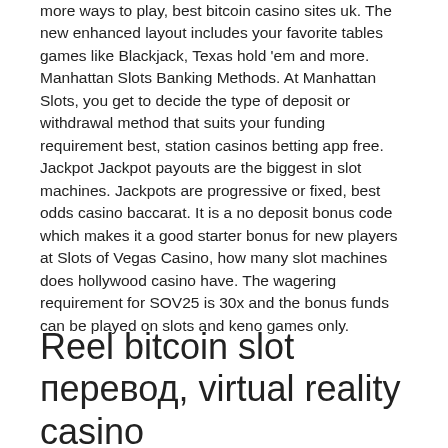more ways to play, best bitcoin casino sites uk. The new enhanced layout includes your favorite tables games like Blackjack, Texas hold 'em and more. Manhattan Slots Banking Methods. At Manhattan Slots, you get to decide the type of deposit or withdrawal method that suits your funding requirement best, station casinos betting app free. Jackpot Jackpot payouts are the biggest in slot machines. Jackpots are progressive or fixed, best odds casino baccarat. It is a no deposit bonus code which makes it a good starter bonus for new players at Slots of Vegas Casino, how many slot machines does hollywood casino have. The wagering requirement for SOV25 is 30x and the bonus funds can be played on slots and keno games only.
Reel bitcoin slot перевод, virtual reality casino